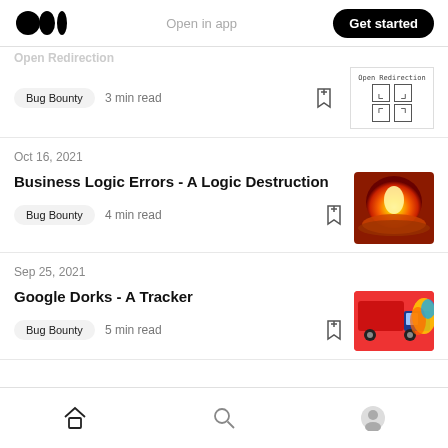Medium logo | Open in app | Get started
Bug Bounty · 3 min read
Oct 16, 2021
Business Logic Errors - A Logic Destruction
Bug Bounty · 4 min read
Sep 25, 2021
Google Dorks - A Tracker
Bug Bounty · 5 min read
Home | Search | Profile